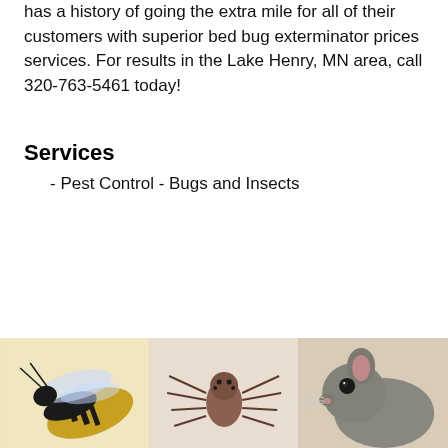has a history of going the extra mile for all of their customers with superior bed bug exterminator prices services. For results in the Lake Henry, MN area, call 320-763-5461 today!
Services
- Pest Control - Bugs and Insects
[Figure (photo): Three photos side by side at bottom of page: a yellow-and-black wasp on the left, a brown spider in the center, and a gray rat on the right.]